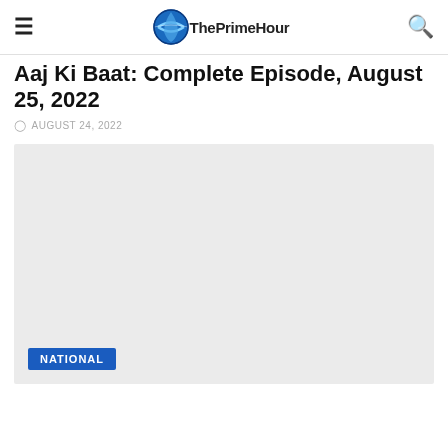ThePrimeHour
Aaj Ki Baat: Complete Episode, August 25, 2022
AUGUST 24, 2022
[Figure (other): Large light gray media placeholder box with a NATIONAL badge in the bottom left corner]
NATIONAL